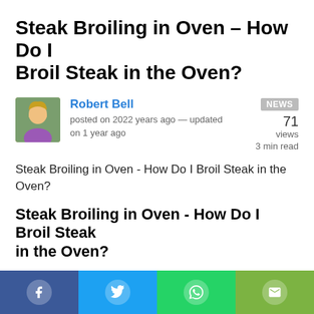Steak Broiling in Oven - How Do I Broil Steak in the Oven?
Robert Bell — posted on 2022 years ago — updated on 1 year ago — NEWS — 71 views — 3 min read
Steak Broiling in Oven - How Do I Broil Steak in the Oven?
Steak Broiling in Oven - How Do I Broil Steak in the Oven?
Just recently I have been flooded with the question how